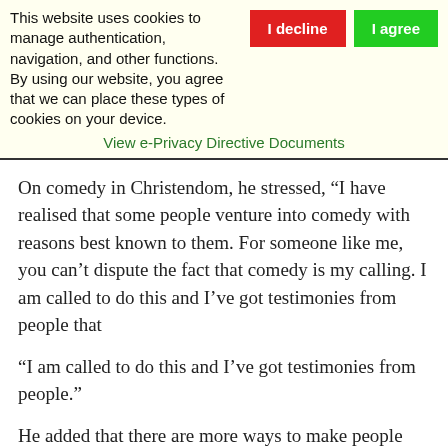This website uses cookies to manage authentication, navigation, and other functions. By using our website, you agree that we can place these types of cookies on your device.
View e-Privacy Directive Documents
On comedy in Christendom, he stressed, “I have realised that some people venture into comedy with reasons best known to them. For someone like me, you can’t dispute the fact that comedy is my calling. I am called to do this and I’ve got testimonies from people that
“I am called to do this and I’ve got testimonies from people.”
He added that there are more ways to make people